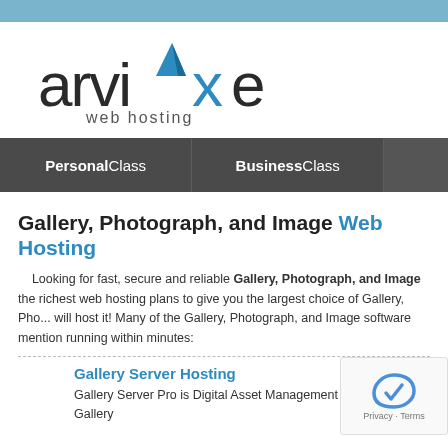Arvixe web hosting
[Figure (logo): Arvixe web hosting logo with stylized lowercase text and blue checkmark/X accent mark]
PersonalClass | BusinessClass
Gallery, Photograph, and Image Web Hosting
Looking for fast, secure and reliable Gallery, Photograph, and Image the richest web hosting plans to give you the largest choice of Gallery, Pho... will host it! Many of the Gallery, Photograph, and Image software mentions running within minutes:
Gallery Server Hosting
Gallery Server Pro is Digital Asset Management and web Gallery